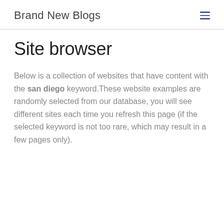Brand New Blogs
Site browser
Below is a collection of websites that have content with the san diego keyword.These website examples are randomly selected from our database, you will see different sites each time you refresh this page (if the selected keyword is not too rare, which may result in a few pages only).